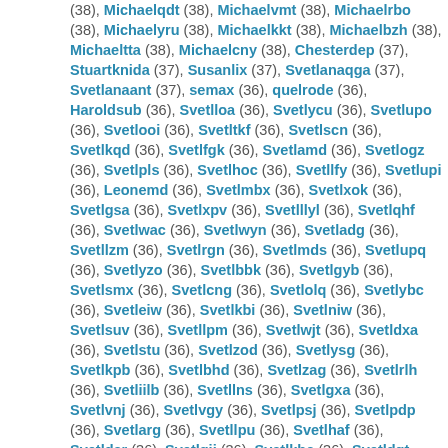(38), Michaelqdt (38), Michaelvmt (38), Michaelrbo (38), Michaelyru (38), Michaelkkt (38), Michaelbzh (38), Michaeltta (38), Michaelcny (38), Chesterdep (37), Stuartknida (37), Susanlix (37), Svetlanaqga (37), Svetlanaant (37), semax (36), quelrode (36), Haroldsub (36), Svetlloa (36), Svetlycu (36), Svetlupo (36), Svetlooi (36), Svetltkf (36), Svetlscn (36), Svetlkqd (36), Svetlfgk (36), Svetlamd (36), Svetlogz (36), Svetlpls (36), Svetlhoc (36), Svetllfy (36), Svetlupi (36), Leonemd (36), Svetlmbx (36), Svetlxok (36), Svetlgsa (36), Svetlxpv (36), Svetlllyl (36), Svetlqhf (36), Svetlwac (36), Svetlwyn (36), Svetladg (36), Svetllzm (36), Svetlrgn (36), Svetlmds (36), Svetlupq (36), Svetlyzo (36), Svetlbbk (36), Svetlgyb (36), Svetlsmx (36), Svetlcng (36), Svetlolq (36), Svetlybc (36), Svetleiw (36), Svetlkbi (36), Svetlniw (36), Svetlsuv (36), Svetllpm (36), Svetlwjt (36), Svetldxa (36), Svetlstu (36), Svetlzod (36), Svetlysg (36), Svetlkpb (36), Svetlbhd (36), Svetlzag (36), Svetlrlh (36), Svetliilb (36), Svetllns (36), Svetlgxa (36), Svetlvnj (36), Svetlvgy (36), Svetlpsj (36), Svetlpdp (36), Svetlarg (36), Svetllpu (36), Svetlhaf (36), Svetldcr (36), Svetlqji (36), Svetlkbc (36), Svetldgt (36), Svetlmeq (36), Svetlvvh (36), Svetlwix (36), Svetlsbm (36), Svetlhmf (36), Svetlgvd (36), Svetltmf (36), Svetlnjv (36), Svetldfb (36), Svetlner (36), Svetlwgn (36), Svetlzje (36), Svetldob (36), Svetlitc (36), Svetlpjb (36), Svetlndl (36), Svetlwde (36), Frankbah (36), Svetldol (36),